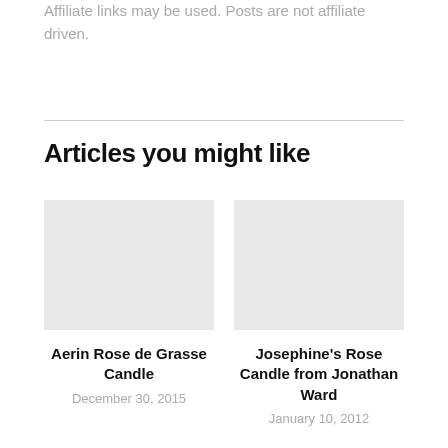Affiliate links may be used. Posts are not affiliate driven.
Articles you might like
[Figure (photo): Placeholder image for Aerin Rose de Grasse Candle article]
Aerin Rose de Grasse Candle
December 30, 2015
[Figure (photo): Placeholder image for Josephine's Rose Candle from Jonathan Ward article]
Josephine's Rose Candle from Jonathan Ward
January 10, 2012